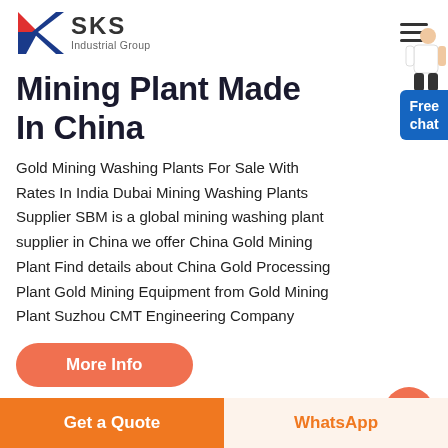SKS Industrial Group
Mining Plant Made In China
Gold Mining Washing Plants For Sale With Rates In India Dubai Mining Washing Plants Supplier SBM is a global mining washing plant supplier in China we offer China Gold Mining Plant Find details about China Gold Processing Plant Gold Mining Equipment from Gold Mining Plant Suzhou CMT Engineering Company
[Figure (illustration): Person/representative figure with Free chat badge overlay]
More Info
Get a Quote
WhatsApp